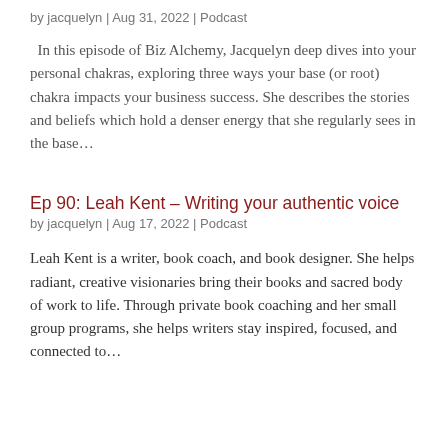by jacquelyn | Aug 31, 2022 | Podcast
In this episode of Biz Alchemy, Jacquelyn deep dives into your personal chakras, exploring three ways your base (or root) chakra impacts your business success. She describes the stories and beliefs which hold a denser energy that she regularly sees in the base…
Ep 90: Leah Kent – Writing your authentic voice
by jacquelyn | Aug 17, 2022 | Podcast
Leah Kent is a writer, book coach, and book designer. She helps radiant, creative visionaries bring their books and sacred body of work to life. Through private book coaching and her small group programs, she helps writers stay inspired, focused, and connected to…